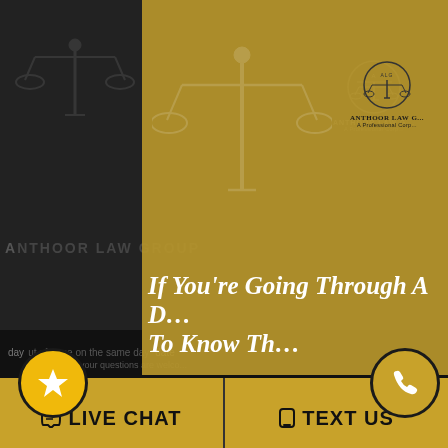[Figure (screenshot): Screenshot of Anthoor Law Group website with a gold popup overlay modal showing a call-to-action for divorce information, with a photo of a lawyer, Download Now button, and bottom toolbar with Live Chat and Text Us options.]
If You're Going Through A D... To Know Th...
Download N...
LIVE CHAT
TEXT US